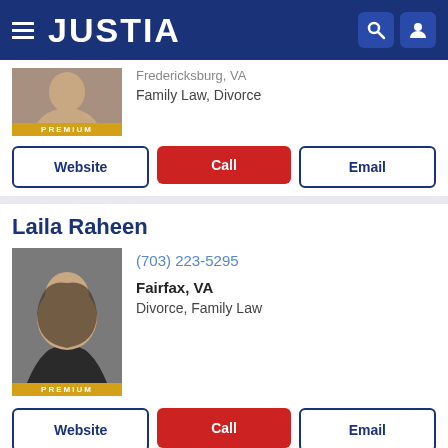JUSTIA
Family Law, Divorce
Website | Call | Email
Laila Raheen
(703) 223-5295
Fairfax, VA
Divorce, Family Law
Website | Call | Email
John C. Whitbeck
(800) 516-3964